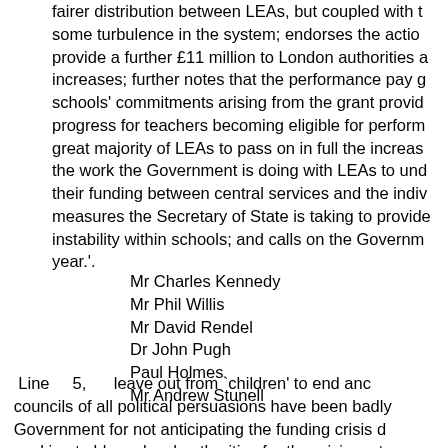fairer distribution between LEAs, but coupled with the some turbulence in the system; endorses the action provide a further £11 million to London authorities and increases; further notes that the performance pay g schools' commitments arising from the grant provid progress for teachers becoming eligible for perform great majority of LEAs to pass on in full the increas the work the Government is doing with LEAs to und their funding between central services and the indiv measures the Secretary of State is taking to provide instability within schools; and calls on the Governm year.'.
Mr Charles Kennedy
Mr Phil Willis
Mr David Rendel
Dr John Pugh
Paul Holmes
Mr Andrew Stunell
Line 5, leave out from `children' to end and councils of all political persuasions have been badly Government for not anticipating the funding crisis d seeking to blame local authorities for the crisis; note England who are struggling to maintain high standa adequately to resource their schools; recognises th workload agreement jointly signed by the majority o Government; believes that the crisis is largely due